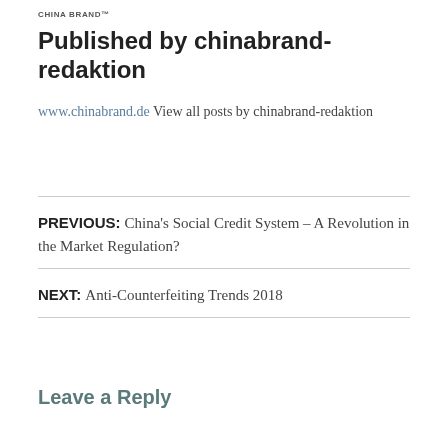CHINA BRAND™
Published by chinabrand-redaktion
www.chinabrand.de View all posts by chinabrand-redaktion
PREVIOUS: China's Social Credit System – A Revolution in the Market Regulation?
NEXT: Anti-Counterfeiting Trends 2018
Leave a Reply